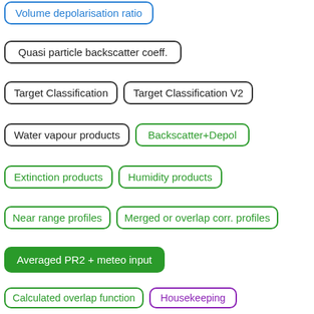[Figure (flowchart): A flowchart showing various lidar data product labels as colored bordered boxes arranged in rows. Colors indicate: blue outline = Volume depolarisation ratio; black outline = Quasi particle backscatter coeff., Target Classification, Target Classification V2, Water vapour products; green outline = Backscatter+Depol, Extinction products, Humidity products, Near range profiles, Merged or overlap corr. profiles, Calculated overlap function; green filled = Averaged PR2 + meteo input; purple = Housekeeping, Lidar constant monitoring, Lidar signal status UV, Lidar signal status VIS.]